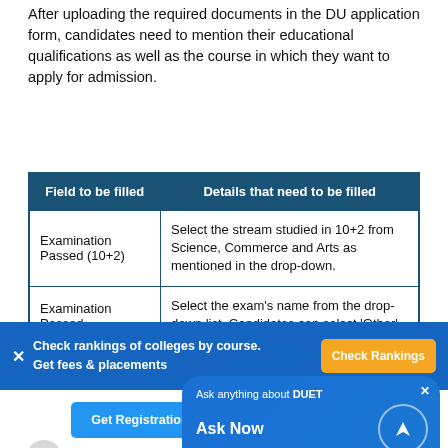After uploading the required documents in the DU application form, candidates need to mention their educational qualifications as well as the course in which they want to apply for admission.
| Field to be filled | Details that need to be filled |
| --- | --- |
| Examination Passed (10+2) | Select the stream studied in 10+2 from Science, Commerce and Arts as mentioned in the drop-down. |
| Examination Passed (Graduation) | Select the exam's name from the drop-down list. Candidates can select 'Other' from the list if their exam is not mentioned to fill their exam details manually. |